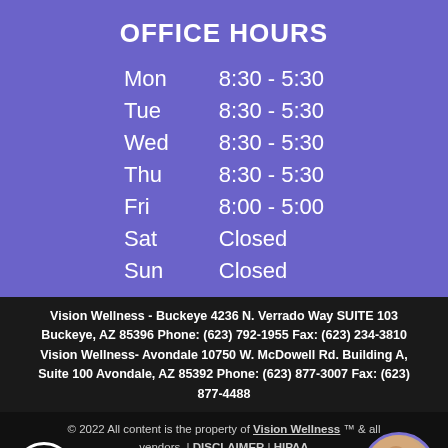OFFICE HOURS
| Day | Hours |
| --- | --- |
| Mon | 8:30 - 5:30 |
| Tue | 8:30 - 5:30 |
| Wed | 8:30 - 5:30 |
| Thu | 8:30 - 5:30 |
| Fri | 8:00 - 5:00 |
| Sat | Closed |
| Sun | Closed |
Vision Wellness - Buckeye 4236 N. Verrado Way SUITE 103 Buckeye, AZ 85396 Phone: (623) 792-1955 Fax: (623) 234-3810 Vision Wellness- Avondale 10750 W. McDowell Rd. Building A, Suite 100 Avondale, AZ 85392 Phone: (623) 877-3007 Fax: (623) 877-4488
© 2022 All content is the property of Vision Wellness ™ & all vendors. | DISCLAIMER | HIPAA Website Powered and Developed by EyeVertise.com